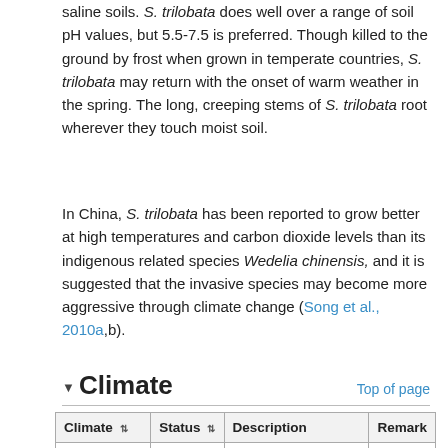saline soils. S. trilobata does well over a range of soil pH values, but 5.5-7.5 is preferred. Though killed to the ground by frost when grown in temperate countries, S. trilobata may return with the onset of warm weather in the spring. The long, creeping stems of S. trilobata root wherever they touch moist soil.
In China, S. trilobata has been reported to grow better at high temperatures and carbon dioxide levels than its indigenous related species Wedelia chinensis, and it is suggested that the invasive species may become more aggressive through climate change (Song et al., 2010a,b).
Climate
| Climate | Status | Description | Remark |
| --- | --- | --- | --- |
| Search | Searc | Search | Sea |
| Af - Tropical rainforest climate | Tolerated | > 60mm precipitation per month |  |
| Am - Tropical monsoon climate | Preferred | Tropical monsoon climate ( < 60mm precipitation driest month but > (100 - [total annual |  |